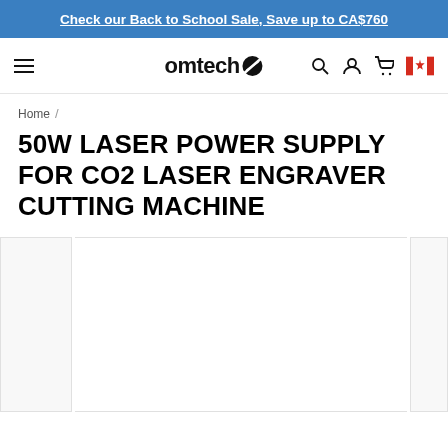Check our Back to School Sale, Save up to CA$760
[Figure (logo): OmTech logo with navigation bar including hamburger menu, search, account, cart icons and Canadian flag]
Home /
50W LASER POWER SUPPLY FOR CO2 LASER ENGRAVER CUTTING MACHINE
[Figure (photo): Product image gallery area showing main product image placeholder with thumbnail sidebar on left and partial right panel]